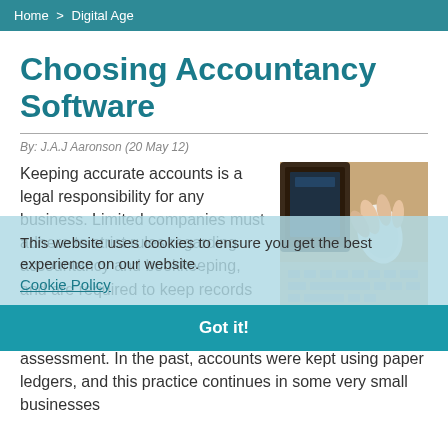Home > Digital Age
Choosing Accountancy Software
By: J.A.J Aaronson (20 May 12)
[Figure (photo): Person's hand using a computer mouse on a desk, with keyboard visible]
Keeping accurate accounts is a legal responsibility for any business. Limited companies must adhere to strict rules regarding accountancy and bookkeeping, and are required to keep records of their business expenses and income, to be submitted in addition to their annual self assessment. In the past, accounts were kept using paper ledgers, and this practice continues in some very small businesses
This website uses cookies to ensure you get the best experience on our website.
Cookie Policy
Got it!